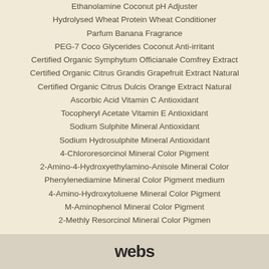Ethanolamine Coconut pH Adjuster
Hydrolysed Wheat Protein Wheat Conditioner
Parfum Banana Fragrance
PEG-7 Coco Glycerides Coconut Anti-irritant
Certified Organic Symphytum Officianale Comfrey Extract
Certified Organic Citrus Grandis Grapefruit Extract Natural
Certified Organic Citrus Dulcis Orange Extract Natural
Ascorbic Acid Vitamin C Antioxidant
Tocopheryl Acetate Vitamin E Antioxidant
Sodium Sulphite Mineral Antioxidant
Sodium Hydrosulphite Mineral Antioxidant
4-Chlororesorcinol Mineral Color Pigment
2-Amino-4-Hydroxyethylamino-Anisole Mineral Color
Phenylenediamine Mineral Color Pigment medium
4-Amino-Hydroxytoluene Mineral Color Pigment
M-Aminophenol Mineral Color Pigment
2-Methly Resorcinol Mineral Color Pigment
webs